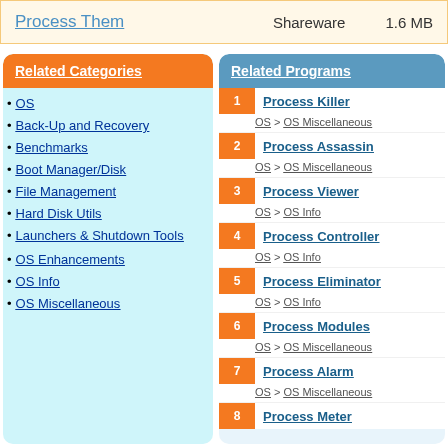Process Them    Shareware    1.6 MB
Related Categories
OS
Back-Up and Recovery
Benchmarks
Boot Manager/Disk
File Management
Hard Disk Utils
Launchers & Shutdown Tools
OS Enhancements
OS Info
OS Miscellaneous
Related Programs
1 Process Killer
OS > OS Miscellaneous
2 Process Assassin
OS > OS Miscellaneous
3 Process Viewer
OS > OS Info
4 Process Controller
OS > OS Info
5 Process Eliminator
OS > OS Info
6 Process Modules
OS > OS Miscellaneous
7 Process Alarm
OS > OS Miscellaneous
8 Process Meter